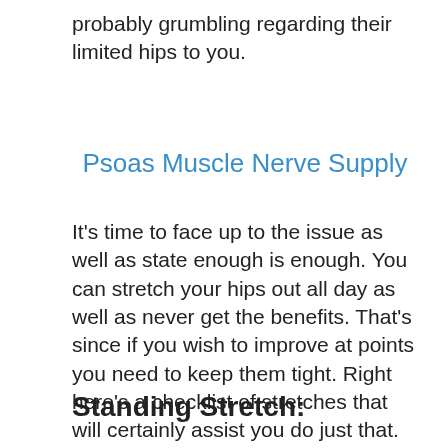probably grumbling regarding their limited hips to you.
Psoas Muscle Nerve Supply
It's time to face up to the issue as well as state enough is enough. You can stretch your hips out all day as well as never get the benefits. That's since if you wish to improve at points you need to keep them tight. Right here's a checklist of stretches that will certainly assist you do just that.
Standing Stretch: